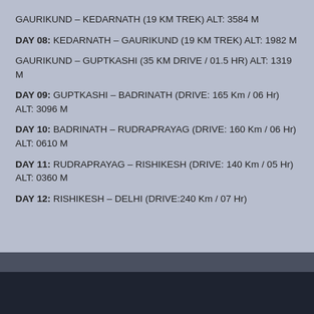GAURIKUND – KEDARNATH (19 KM TREK)  ALT: 3584 M
DAY 08: KEDARNATH – GAURIKUND (19 KM TREK) ALT: 1982 M
GAURIKUND – GUPTKASHI (35 KM DRIVE / 01.5 HR) ALT: 1319 M
DAY 09: GUPTKASHI – BADRINATH (DRIVE: 165 Km / 06 Hr) ALT: 3096 M
DAY 10: BADRINATH – RUDRAPRAYAG (DRIVE: 160 Km / 06 Hr) ALT: 0610 M
DAY 11: RUDRAPRAYAG – RISHIKESH (DRIVE: 140 Km / 05 Hr) ALT: 0360 M
DAY 12: RISHIKESH – DELHI (DRIVE:240 Km / 07 Hr)